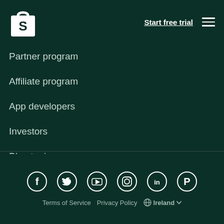[Figure (logo): Shopify white bag logo]
Start free trial
Partner program
Affiliate program
App developers
Investors
Blog topics
Community Events
[Figure (infographic): Social media icons: Facebook, Twitter, YouTube, Instagram, LinkedIn, Pinterest]
Terms of Service   Privacy Policy   🌐 Ireland ▼